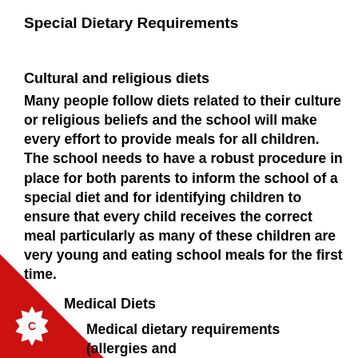Special Dietary Requirements
Cultural and religious diets
Many people follow diets related to their culture or religious beliefs and the school will make every effort to provide meals for all children. The school needs to have a robust procedure in place for both parents to inform the school of a special diet and for identifying children to ensure that every child receives the correct meal particularly as many of these children are very young and eating school meals for the first time.
Medical Diets
Medical dietary requirements (allergies and